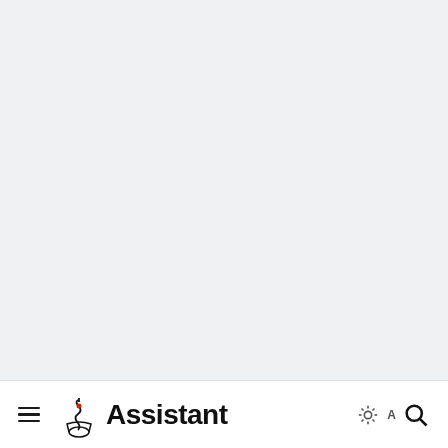[Figure (other): Empty light gray background area filling most of the page]
≡  [logo] Assistant  ☀ A 🔍